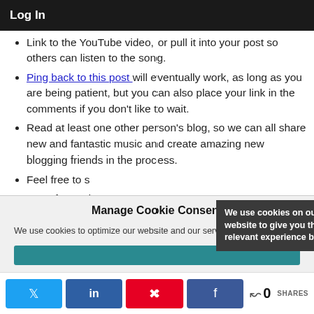Log In
Link to the YouTube video, or pull it into your post so others can listen to the song.
Ping back to this post will eventually work, as long as you are being patient, but you can also place your link in the comments if you don't like to wait.
Read at least one other person's blog, so we can all share new and fantastic music and create amazing new blogging friends in the process.
Feel free to s...
Have fun and...
We use cookies on our website to give you the most relevant experience by
Manage Cookie Consent
We use cookies to optimize our website and our service.